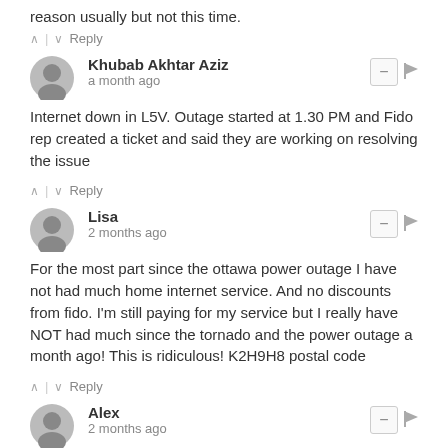reason usually but not this time.
^ | v  Reply
Khubab Akhtar Aziz
a month ago
Internet down in L5V. Outage started at 1.30 PM and Fido rep created a ticket and said they are working on resolving the issue
^ | v  Reply
Lisa
2 months ago
For the most part since the ottawa power outage I have not had much home internet service. And no discounts from fido. I'm still paying for my service but I really have NOT had much since the tornado and the power outage a month ago! This is ridiculous! K2H9H8 postal code
^ | v  Reply
Alex
2 months ago
L5N internet down again since 2:30am, it is now almost 8am...